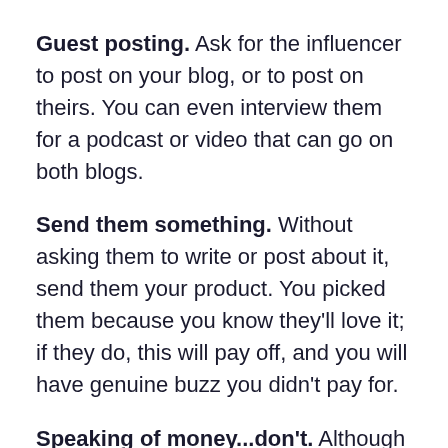Guest posting. Ask for the influencer to post on your blog, or to post on theirs. You can even interview them for a podcast or video that can go on both blogs.
Send them something. Without asking them to write or post about it, send them your product. You picked them because you know they'll love it; if they do, this will pay off, and you will have genuine buzz you didn't pay for.
Speaking of money...don't. Although some influencers do get paid, that kind of strategy can blow up in your face. Instead, send the influencer the product or allow them to use the service free of charge, but don't pay them. About 70 percent of businesses pay influencers